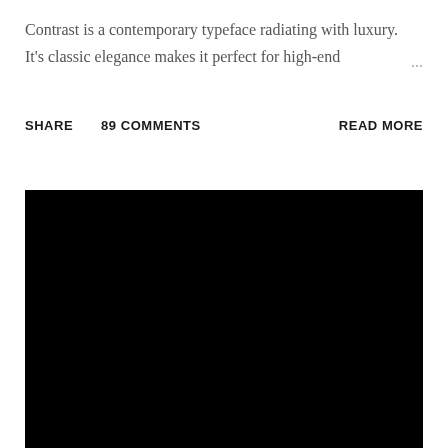Contrast is a contemporary typeface radiating with luxury. It's classic elegance makes it perfect for high-end ...
SHARE   89 COMMENTS   READ MORE
[Figure (photo): Large black rectangle filling the lower portion of the page, representing an image placeholder or dark background image.]